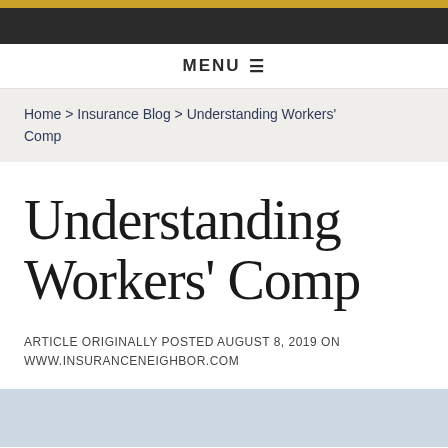MENU
Home > Insurance Blog > Understanding Workers' Comp
Understanding Workers' Comp
ARTICLE ORIGINALLY POSTED AUGUST 8, 2019 ON WWW.INSURANCENEIGHBOR.COM
[Figure (photo): Photo of a person at a desk, partial view, bottom of page]